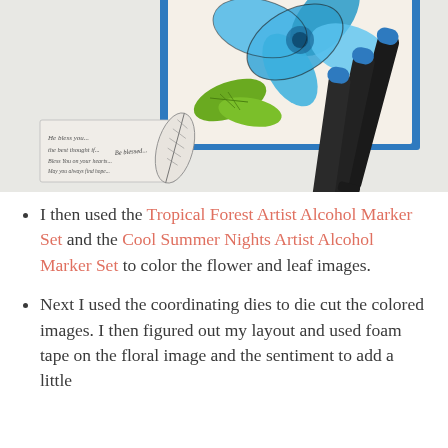[Figure (photo): Photo showing a handmade greeting card with a blue tropical flower and green leaves, surrounded by rubber stamps with feather and text designs, and black alcohol markers on a white surface.]
I then used the Tropical Forest Artist Alcohol Marker Set and the Cool Summer Nights Artist Alcohol Marker Set to color the flower and leaf images.
Next I used the coordinating dies to die cut the colored images. I then figured out my layout and used foam tape on the floral image and the sentiment to add a little